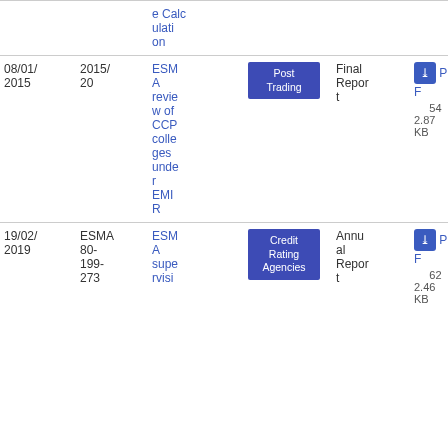| Date | Reference | Title | Category | Type | Download |
| --- | --- | --- | --- | --- | --- |
|  |  | e Calculation |  |  |  |
| 08/01/2015 | 2015/20 | ESMA review of CCP colleges under EMIR | Post Trading | Final Report | PDF 54 2.87 KB |
| 19/02/2019 | ESMA 80-199-273 | ESMA supervisi... | Credit Rating Agencies | Annual Report | PDF 62 2.46 KB |